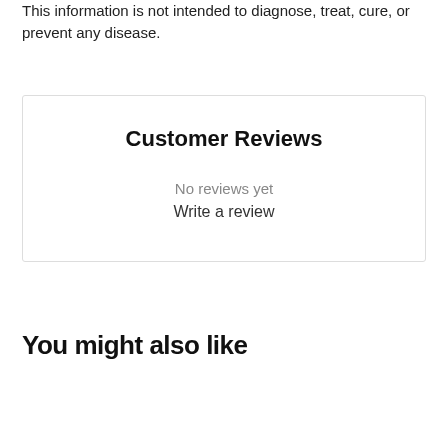This information is not intended to diagnose, treat, cure, or prevent any disease.
Customer Reviews
No reviews yet
Write a review
You might also like